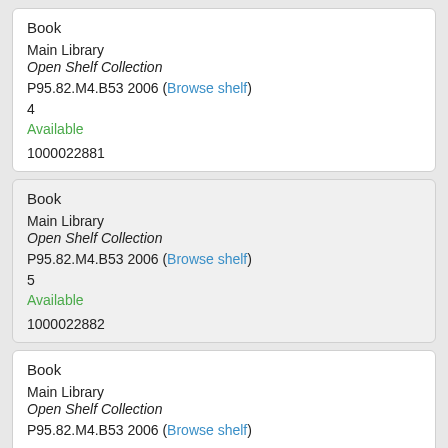Book
Main Library
Open Shelf Collection
P95.82.M4.B53 2006 (Browse shelf)
4
Available
1000022881
Book
Main Library
Open Shelf Collection
P95.82.M4.B53 2006 (Browse shelf)
5
Available
1000022882
Book
Main Library
Open Shelf Collection
P95.82.M4.B53 2006 (Browse shelf)